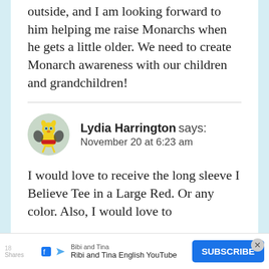outside, and I am looking forward to him helping me raise Monarchs when he gets a little older. We need to create Monarch awareness with our children and grandchildren!
Lydia Harrington says:
November 20 at 6:23 am
I would love to receive the long sleeve I Believe Tee in a Large Red. Or any color. Also, I would love to
[Figure (illustration): Circular avatar icon showing a cartoon yellow character with wings wearing a red outfit]
Bibi and Tina
Ribi and Tina English YouTube
SUBSCRIBE
18 Shares